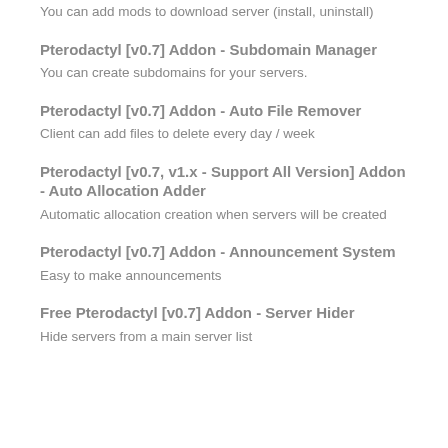You can add mods to download server (install, uninstall)
Pterodactyl [v0.7] Addon - Subdomain Manager
You can create subdomains for your servers.
Pterodactyl [v0.7] Addon - Auto File Remover
Client can add files to delete every day / week
Pterodactyl [v0.7, v1.x - Support All Version] Addon - Auto Allocation Adder
Automatic allocation creation when servers will be created
Pterodactyl [v0.7] Addon - Announcement System
Easy to make announcements
Free Pterodactyl [v0.7] Addon - Server Hider
Hide servers from a main server list